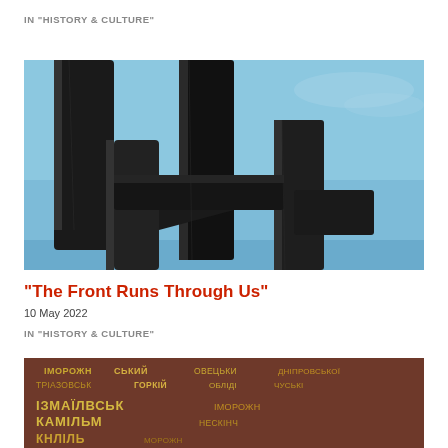IN "HISTORY & CULTURE"
[Figure (photo): Close-up photo of a large dark metal abstract sculpture with angular U-shaped forms against a blue sky]
"The Front Runs Through Us"
10 May 2022
IN "HISTORY & CULTURE"
[Figure (photo): Photo of a stone or metal memorial plaque with Cyrillic text listing city or regiment names in gold lettering on a dark background]